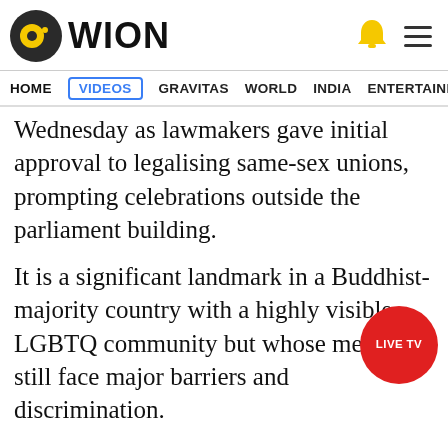WION
HOME  VIDEOS  GRAVITAS  WORLD  INDIA  ENTERTAINMENT  SPORTS
Wednesday as lawmakers gave initial approval to legalising same-sex unions, prompting celebrations outside the parliament building.
It is a significant landmark in a Buddhist-majority country with a highly visible LGBTQ community but whose members still face major barriers and discrimination.
The legislation must clear several more hurdles before becoming law. If it succeeds, Thailand would be the first country in Southeast Asia to recognise same sex unions.